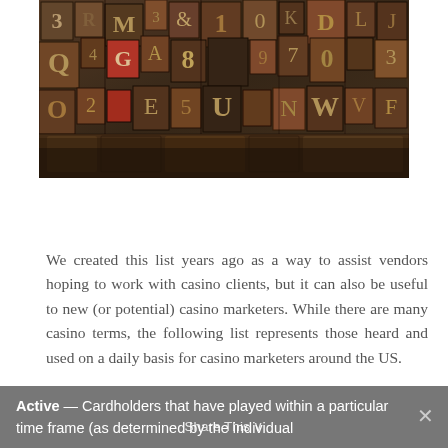[Figure (photo): A collection of vintage wooden letterpress printing blocks with various letters and numbers in different sizes and orientations, showing rustic brown, red, and dark tones.]
We created this list years ago as a way to assist vendors hoping to work with casino clients, but it can also be useful to new (or potential) casino marketers. While there are many casino terms, the following list represents those heard and used on a daily basis for casino marketers around the US.
Active — Cardholders that have played within a particular time frame (as determined by the individual